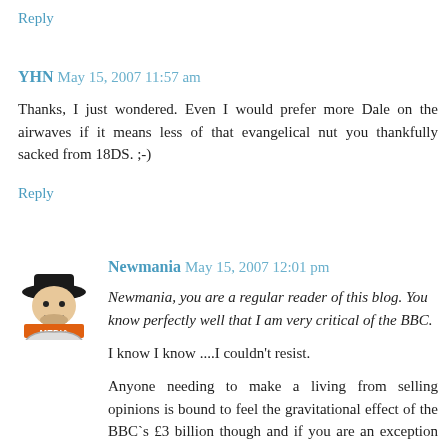Reply
YHN  May 15, 2007 11:57 am
Thanks, I just wondered. Even I would prefer more Dale on the airwaves if it means less of that evangelical nut you thankfully sacked from 18DS. ;-)
Reply
[Figure (photo): Avatar image of a cartoon figure in a black hat with orange text MEDIA]
Newmania  May 15, 2007 12:01 pm
Newmania, you are a regular reader of this blog. You know perfectly well that I am very critical of the BBC.
I know I know ....I couldn't resist.
Anyone needing to make a living from selling opinions is bound to feel the gravitational effect of the BBC`s £3 billion though and if you are an exception most are not . There is also the Court Jester problem. Simon Heffner was introduced as right wing controversialist. Are Now